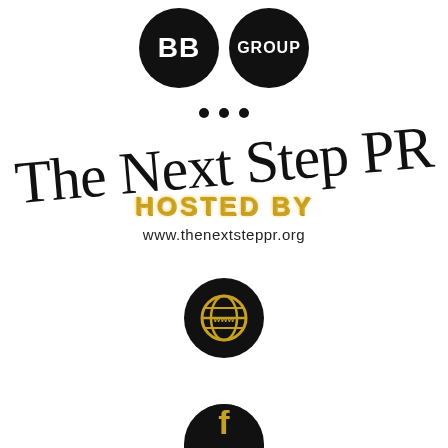[Figure (logo): BB GROUP logo: two black circles, one with 'BB' text and one with 'GROUP' text]
[Figure (illustration): Three small black dots in a row]
[Figure (logo): The Next Step PR logo with script handwritten text 'The Next Step PR', gold glitter 'HOSTED BY' text, and website www.thenextsteppr.org]
[Figure (logo): Black circle with gold globe/www icon]
[Figure (logo): Black circle with gold Facebook 'f' icon (partially visible at bottom)]